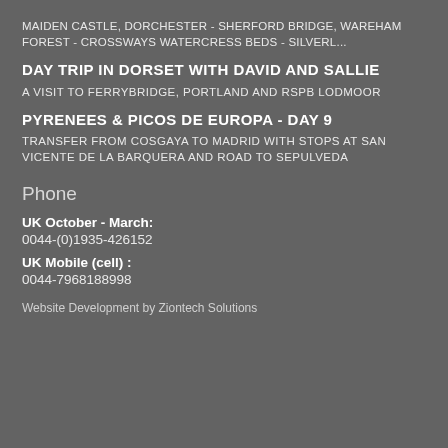MAIDEN CASTLE, DORCHESTER - SHERFORD BRIDGE, WAREHAM FOREST - CROSSWAYS WATERCRESS BEDS - SILVERL...
DAY TRIP IN DORSET WITH DAVID AND SALLIE
A VISIT TO FERRYBRIDGE, PORTLAND AND RSPB LODMOOR
PYRENEES & PICOS DE EUROPA - DAY 9
TRANSFER FROM COSGAYA TO MADRID WITH STOPS AT SAN VICENTE DE LA BARQUERA AND ROAD TO SEPULVEDA
Phone
UK October - March:
0044-(0)1935-426152
UK Mobile (cell) :
0044-7968188998
Website Development by Ziontech Solutions